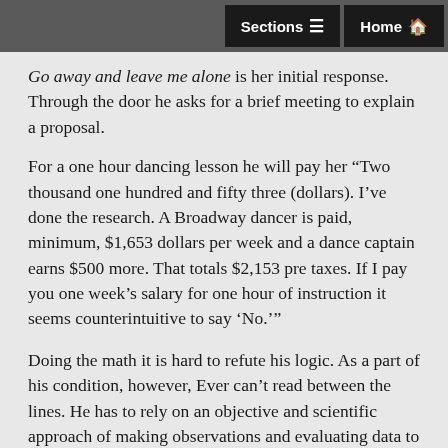Sections   Home
Go away and leave me alone is her initial response. Through the door he asks for a brief meeting to explain a proposal.
For a one hour dancing lesson he will pay her “Two thousand one hundred and fifty three (dollars). I’ve done the research. A Broadway dancer is paid, minimum, $1,653 dollars per week and a dance captain earns $500 more. That totals $2,153 pre taxes. If I pay you one week’s salary for one hour of instruction it seems counterintuitive to say ‘No.’”
Doing the math it is hard to refute his logic. As a part of his condition, however, Ever can’t read between the lines. He has to rely on an objective and scientific approach of making observations and evaluating data to deconstruct relating to Neurotypicals. While focused on his work and